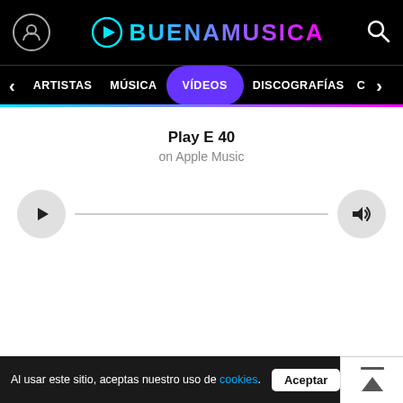BUENAMUSICA
ARTISTAS MÚSICA VÍDEOS DISCOGRAFÍAS C
Play E 40
on Apple Music
Al usar este sitio, aceptas nuestro uso de cookies. Aceptar